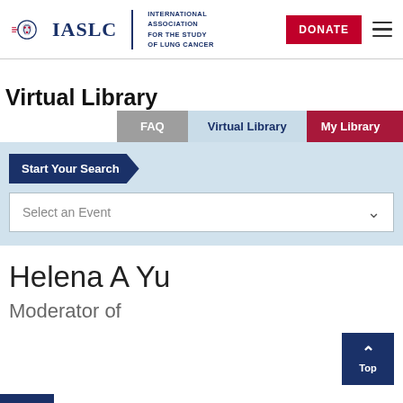IASLC | INTERNATIONAL ASSOCIATION FOR THE STUDY OF LUNG CANCER | DONATE
Virtual Library
FAQ | Virtual Library | My Library
Start Your Search
Select an Event
Helena A Yu
Moderator of